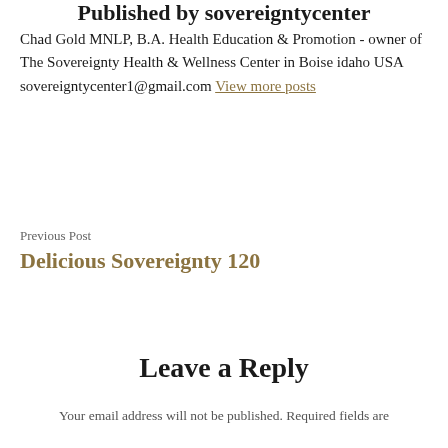Published by sovereigntycenter
Chad Gold MNLP, B.A. Health Education & Promotion - owner of The Sovereignty Health & Wellness Center in Boise idaho USA sovereigntycenter1@gmail.com View more posts
Previous Post
Delicious Sovereignty 120
Leave a Reply
Your email address will not be published. Required fields are